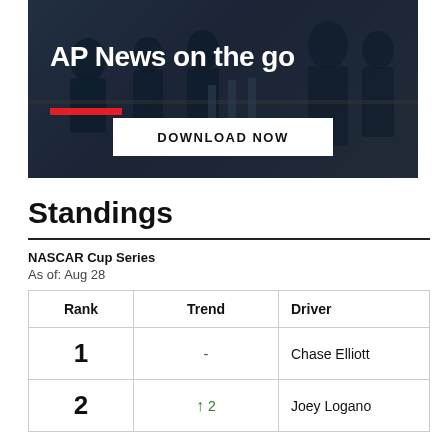[Figure (photo): AP News on the go advertisement banner with dark silhouetted crowd background, red underline accent, and white Download Now button]
Standings
NASCAR Cup Series
As of: Aug 28
| Rank | Trend | Driver |
| --- | --- | --- |
| 1 | - | Chase Elliott |
| 2 | ↑ 2 | Joey Logano |